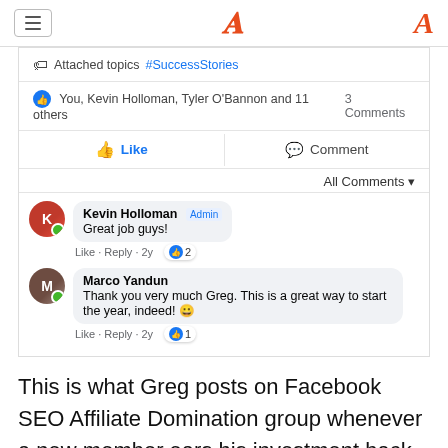≡ [hamburger menu] | A [logo]
Attached topics #SuccessStories
You, Kevin Holloman, Tyler O'Bannon and 11 others   3 Comments
Like   Comment   All Comments ▾
Kevin Holloman Admin
Great job guys!
Like · Reply · 2y  👍 2
Marco Yandun
Thank you very much Greg. This is a great way to start the year, indeed! 😀
Like · Reply · 2y  👍 1
This is what Greg posts on Facebook SEO Affiliate Domination group whenever a new member ears his investment back
The...